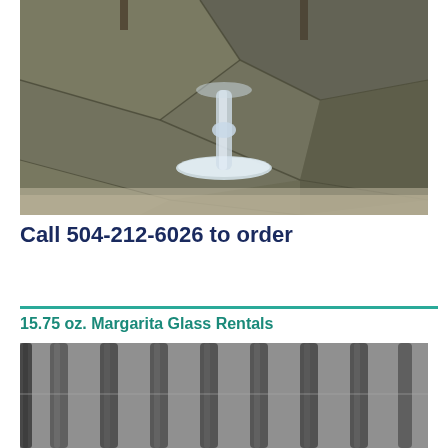[Figure (photo): A clear glass goblet/stemware placed on a dark gray patchwork leather surface with stitched seams. Background shows a dark wooden headboard.]
Call 504-212-6026 to order
15.75 oz. Margarita Glass Rentals
[Figure (photo): Close-up photo of multiple tall margarita glasses arranged closely together, viewed from a low angle showing the long stems against a gray background.]